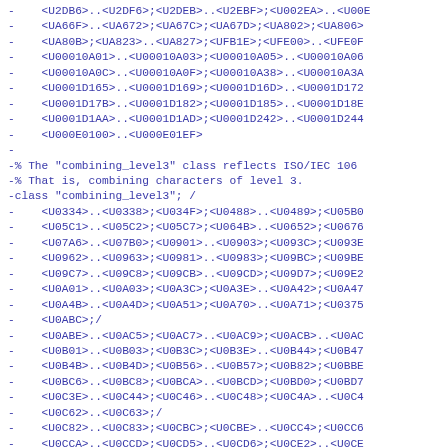- <U2DB6>..<U2DF6>;<U2DEB>..<U2EBF>;<U002EA>..<U00E
- <UA66F>..<UA672>;<UA67C>;<UA67D>;<UA802>;<UA806>
- <UA80B>;<UA823>..<UA827>;<UFB1E>;<UFE00>..<UFE0F
- <U00010A01>..<U00010A03>;<U00010A05>..<U00010A06
- <U00010A0C>..<U00010A0F>;<U00010A38>..<U00010A3A
- <U0001D165>..<U0001D169>;<U0001D16D>..<U0001D172
- <U0001D17B>..<U0001D182>;<U0001D185>..<U0001D18E
- <U0001D1AA>..<U0001D1AD>;<U0001D242>..<U0001D244
- <U000E0100>..<U000E01EF>
-
-% The "combining_level3" class reflects ISO/IEC 106
-% That is, combining characters of level 3.
-class "combining_level3"; /
- <U0334>..<U0338>;<U034F>;<U0488>..<U0489>;<U05B0
- <U05C1>..<U05C2>;<U05C7>;<U064B>..<U0652>;<U0676
- <U07A6>..<U07B0>;<U0901>..<U0903>;<U093C>;<U093E
- <U0962>..<U0963>;<U0981>..<U0983>;<U09BC>;<U09BE
- <U09C7>..<U09C8>;<U09CB>..<U09CD>;<U09D7>;<U09E2
- <U0A01>..<U0A03>;<U0A3C>;<U0A3E>..<U0A42>;<U0A47
- <U0A4B>..<U0A4D>;<U0A51>;<U0A70>..<U0A71>;<U0375
- <U0ABC>;/
- <U0ABE>..<U0AC5>;<U0AC7>..<U0AC9>;<U0ACB>..<U0AC
- <U0B01>..<U0B03>;<U0B3C>;<U0B3E>..<U0B44>;<U0B47
- <U0B4B>..<U0B4D>;<U0B56>..<U0B57>;<U0B82>;<U0BBE
- <U0BC6>..<U0BC8>;<U0BCA>..<U0BCD>;<U0BD0>;<U0BD7
- <U0C3E>..<U0C44>;<U0C46>..<U0C48>;<U0C4A>..<U0C4
- <U0C62>..<U0C63>;/
- <U0C82>..<U0C83>;<U0CBC>;<U0CBE>..<U0CC4>;<U0CC6
- <U0CCA>..<U0CCD>;<U0CD5>..<U0CD6>;<U0CE2>..<U0CE
- <U0D3E>..<U0D44>;<U0D46>..<U0D48>;<U0D4A>..<U0D4
- <U0D62>..<U0D63>;/
- <U0D82>..<U0D83>;<U0DCA>;<U0DCF>..<U0DD4>;<U0DD6